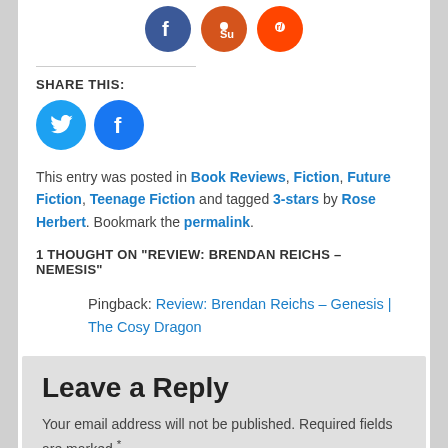[Figure (illustration): Three social sharing icon circles at top: Facebook (dark blue), StumbleUpon (orange), Reddit (red-orange)]
SHARE THIS:
[Figure (illustration): Two social sharing icon circles: Twitter (light blue), Facebook (blue)]
This entry was posted in Book Reviews, Fiction, Future Fiction, Teenage Fiction and tagged 3-stars by Rose Herbert. Bookmark the permalink.
1 THOUGHT ON "REVIEW: BRENDAN REICHS – NEMESIS"
Pingback: Review: Brendan Reichs – Genesis | The Cosy Dragon
Leave a Reply
Your email address will not be published. Required fields are marked *